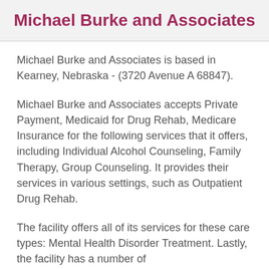Michael Burke and Associates
Michael Burke and Associates is based in Kearney, Nebraska - (3720 Avenue A 68847).
Michael Burke and Associates accepts Private Payment, Medicaid for Drug Rehab, Medicare Insurance for the following services that it offers, including Individual Alcohol Counseling, Family Therapy, Group Counseling. It provides their services in various settings, such as Outpatient Drug Rehab.
The facility offers all of its services for these care types: Mental Health Disorder Treatment. Lastly, the facility has a number of